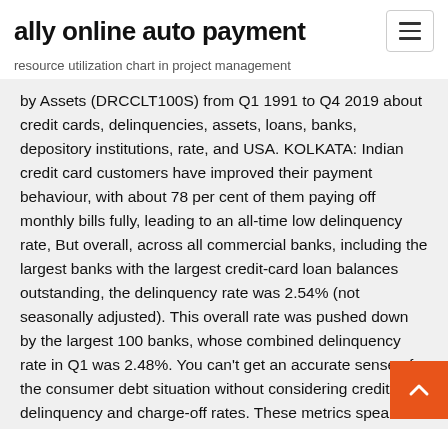ally online auto payment
resource utilization chart in project management
by Assets (DRCCLT100S) from Q1 1991 to Q4 2019 about credit cards, delinquencies, assets, loans, banks, depository institutions, rate, and USA. KOLKATA: Indian credit card customers have improved their payment behaviour, with about 78 per cent of them paying off monthly bills fully, leading to an all-time low delinquency rate, But overall, across all commercial banks, including the largest banks with the largest credit-card loan balances outstanding, the delinquency rate was 2.54% (not seasonally adjusted). This overall rate was pushed down by the largest 100 banks, whose combined delinquency rate in Q1 was 2.48%. You can't get an accurate sense of the consumer debt situation without considering credit card delinquency and charge-off rates. These metrics speak to the sustainability of consumer spending habits, indicating the ability of credit card users to stay current on their bills.